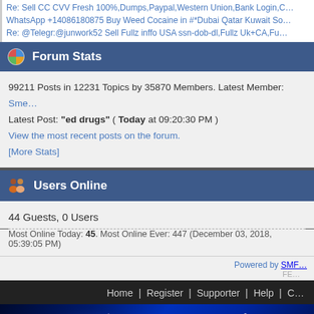Re: Sell CC CVV Fresh 100%,Dumps,Paypal,Western Union,Bank Login,C...
WhatsApp +14086180875 Buy Weed Cocaine in #*Dubai Qatar Kuwait So...
Re: @Telegr:@junwork52 Sell Fullz inffo USA ssn-dob-dl,Fullz Uk+CA,Fu...
Forum Stats
99211 Posts in 12231 Topics by 35870 Members. Latest Member: Sme...
Latest Post: "ed drugs" ( Today at 09:20:30 PM )
View the most recent posts on the forum.
[More Stats]
Users Online
44 Guests, 0 Users
Most Online Today: 45. Most Online Ever: 447 (December 03, 2018, 05:39:05 PM)
Powered by SMF
Home | Register | Supporter | Help | C...